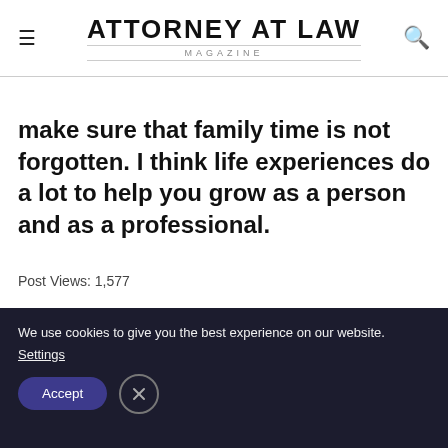ATTORNEY AT LAW MAGAZINE
make sure that family time is not forgotten. I think life experiences do a lot to help you grow as a person and as a professional.
Post Views: 1,577
[Figure (logo): Attorney at Law Magazine circular logo — dark blue/purple circle with white serif text reading ATTORNEY AT LAW in all caps, MAGAZINE below in small caps]
We use cookies to give you the best experience on our website. Settings
Accept